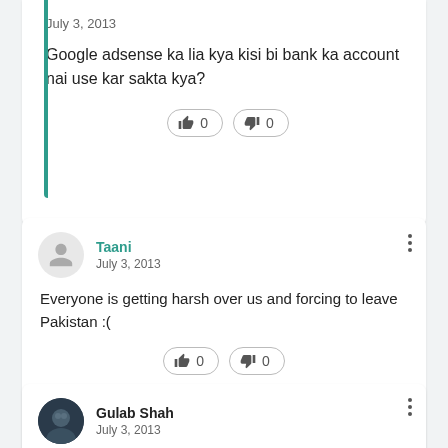July 3, 2013
Google adsense ka lia kya kisi bi bank ka account nai use kar sakta kya?
Taani
July 3, 2013
Everyone is getting harsh over us and forcing to leave Pakistan :(
Gulab Shah
July 3, 2013